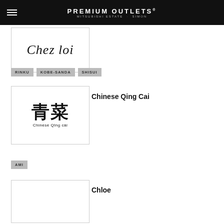PREMIUM OUTLETS® MITSUBISHI ESTATE · SIMON
[Figure (logo): Chez loi logo in cursive italic script]
RINKU   KOBE-SANDA   SHISUI
[Figure (logo): Chinese Qing Cai logo with Chinese characters and text 'Chinese Qīng cài']
Chinese Qing Cai
AMI
[Figure (logo): Chloe brand logo box (partially visible)]
Chloe